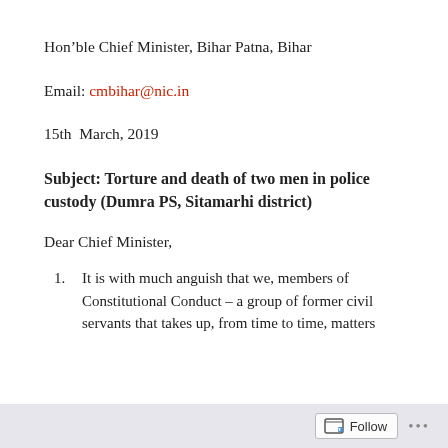Hon'ble Chief Minister, Bihar Patna, Bihar
Email: cmbihar@nic.in
15th  March, 2019
Subject: Torture and death of two men in police custody (Dumra PS, Sitamarhi district)
Dear Chief Minister,
It is with much anguish that we, members of Constitutional Conduct – a group of former civil servants that takes up, from time to time, matters